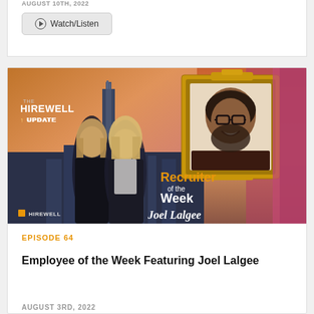AUGUST 10TH, 2022
Watch/Listen
[Figure (photo): The Hirewell Update promotional thumbnail showing two women hosts against a Chicago skyline background with an orange-pink sky, and a man (Joel Lalgee) in a gold picture frame on the right side. Text reads 'THE HIREWELL UPDATE', 'Recruiter of the Week', 'Joel Lalgee' in script, and HIREWELL logo at bottom left.]
EPISODE 64
Employee of the Week Featuring Joel Lalgee
AUGUST 3RD, 2022